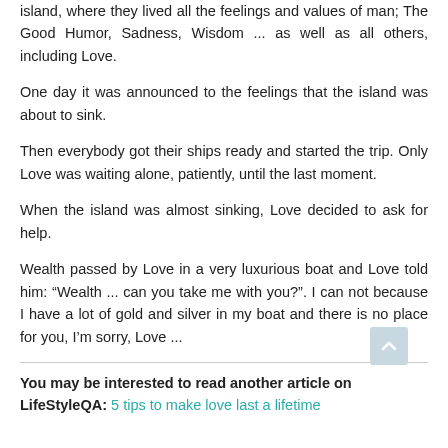island, where they lived all the feelings and values of man; The Good Humor, Sadness, Wisdom ... as well as all others, including Love.
One day it was announced to the feelings that the island was about to sink.
Then everybody got their ships ready and started the trip. Only Love was waiting alone, patiently, until the last moment.
When the island was almost sinking, Love decided to ask for help.
Wealth passed by Love in a very luxurious boat and Love told him: “Wealth ... can you take me with you?". I can not because I have a lot of gold and silver in my boat and there is no place for you, I’m sorry, Love ...
You may be interested to read another article on LifeStyleQA: 5 tips to make love last a lifetime